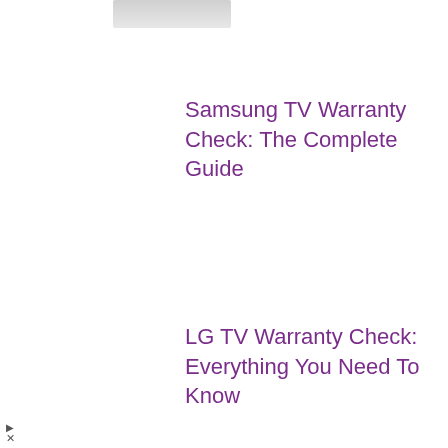[Figure (photo): Partial thumbnail image of a device, cropped at top]
Samsung TV Warranty Check: The Complete Guide
LG TV Warranty Check: Everything You Need To Know
[Figure (other): Advertisement for Hair Cuttery: Walk-Ins Available, with yellow HC logo and blue navigation arrow icon]